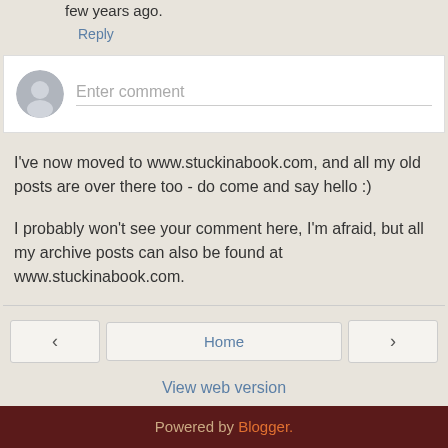few years ago.
Reply
[Figure (other): Comment input box with avatar placeholder and 'Enter comment' placeholder text]
I've now moved to www.stuckinabook.com, and all my old posts are over there too - do come and say hello :)
I probably won't see your comment here, I'm afraid, but all my archive posts can also be found at www.stuckinabook.com.
Home
View web version
Powered by Blogger.